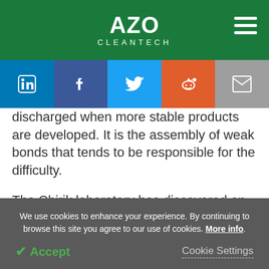[Figure (logo): AZO Cleantech logo with white text on green background, and hamburger menu icon on the right]
[Figure (infographic): Social media sharing bar with icons for LinkedIn, Facebook, Twitter, Reddit, and Email]
discharged when more stable products are developed. It is the assembly of weak bonds that tends to be responsible for the difficulty.
The Chirik laboratory has discovered an approach to make a weak bond by shining light on a catalyst; it is iridium here.
We use cookies to enhance your experience. By continuing to browse this site you agree to our use of cookies. More info.
✔ Accept   Cookie Settings